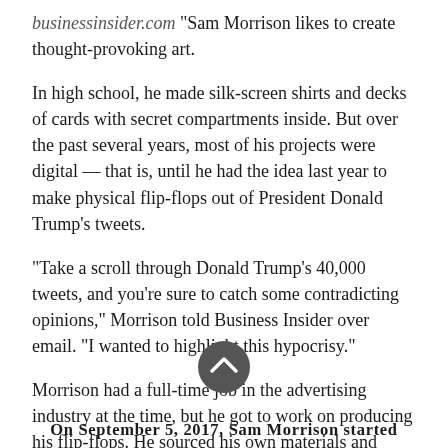businessinsider.com “Sam Morrison likes to create thought-provoking art.
In high school, he made silk-screen shirts and decks of cards with secret compartments inside. But over the past several years, most of his projects were digital — that is, until he had the idea last year to make physical flip-flops out of President Donald Trump’s tweets.
“Take a scroll through Donald Trump’s 40,000 tweets, and you’re sure to catch some contradicting opinions,” Morrison told Business Insider over email. “I wanted to highlight this hypocrisy.”
Morrison had a full-time job in the advertising industry at the time, but he got to work on producing his flip-flops. He sourced his own materials and printed and packaged every flip-flop by hand.
[Figure (other): Scroll-to-top button, dark grey circle with white upward chevron arrow]
On September 5, 2017, Sam Morrison started